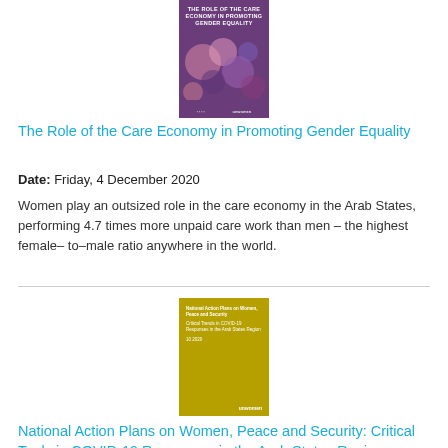[Figure (illustration): Book cover with purple background, title text and colorful circles decoration]
The Role of the Care Economy in Promoting Gender Equality
Date: Friday, 4 December 2020
Women play an outsized role in the care economy in the Arab States, performing 4.7 times more unpaid care work than men – the highest female– to–male ratio anywhere in the world.
[Figure (illustration): Book cover with olive/golden yellow background, text about National Action Plans on Women Peace and Security]
National Action Plans on Women, Peace and Security: Critical Tools in COVID-19 Responses in the Arab States Region
Date: Wednesday, 28 October 2020